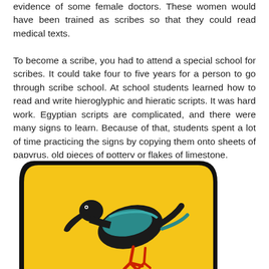evidence of some female doctors. These women would have been trained as scribes so that they could read medical texts.
To become a scribe, you had to attend a special school for scribes. It could take four to five years for a person to go through scribe school. At school students learned how to read and write hieroglyphic and hieratic scripts. It was hard work. Egyptian scripts are complicated, and there were many signs to learn. Because of that, students spent a lot of time practicing the signs by copying them onto sheets of papyrus, old pieces of pottery or flakes of limestone.
[Figure (illustration): Partial view of an Egyptian cartouche illustration on a yellow background with a black border, showing a dark bird (ibis or similar) with teal and red coloring, typical of ancient Egyptian art style.]